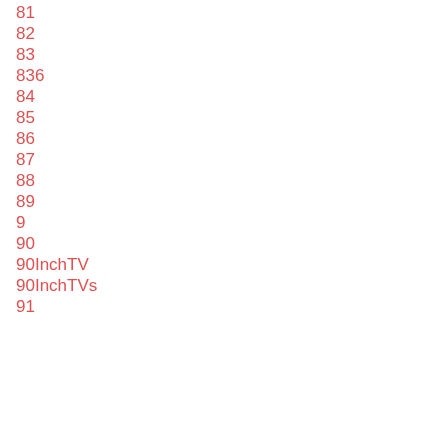81
82
83
836
84
85
86
87
88
89
9
90
90InchTV
90InchTVs
91